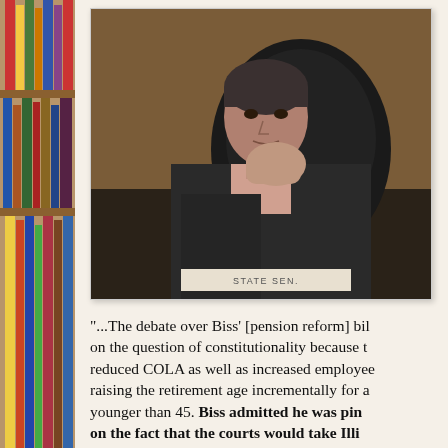[Figure (photo): A man in a dark suit seated at what appears to be a legislative hearing table, resting his hand near his chin in a thoughtful pose. A nameplate partially reading 'STATE SEN.' is visible at the bottom of the photo.]
"...The debate over Biss' [pension reform] bill focused on the question of constitutionality because the bill reduced COLA as well as increased employee contributions, raising the retirement age incrementally for anyone younger than 45. Biss admitted he was pinning hope on the fact that the courts would take Illinois' crisis into account and 'balance' the pension protection language in the Illinois Constitution against...